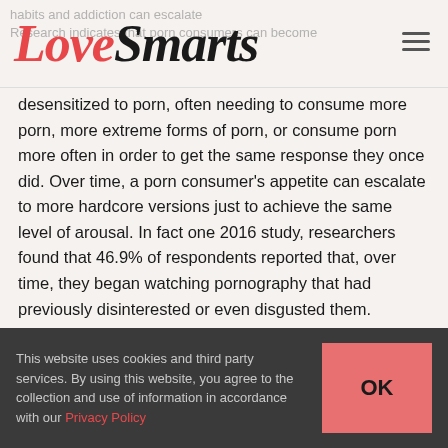LoveSmarts
Research indicates that porn consumers can become desensitized to porn, often needing to consume more porn, more extreme forms of porn, or consume porn more often in order to get the same response they once did. Over time, a porn consumer's appetite can escalate to more hardcore versions just to achieve the same level of arousal. In fact one 2016 study, researchers found that 46.9% of respondents reported that, over time, they began watching pornography that had previously disinterested or even disgusted them.
4. Stop supporting an abusive industry
This website uses cookies and third party services. By using this website, you agree to the collection and use of information in accordance with our Privacy Policy